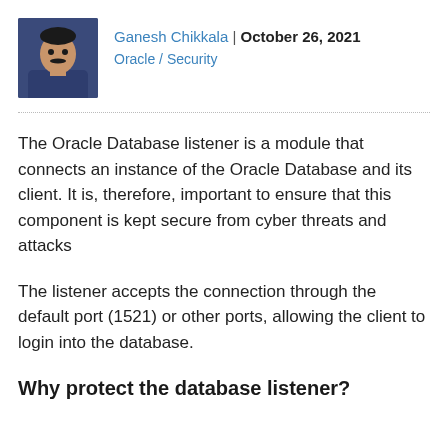[Figure (photo): Author photo of Ganesh Chikkala, a man in a dark blue shirt]
Ganesh Chikkala | October 26, 2021
Oracle / Security
The Oracle Database listener is a module that connects an instance of the Oracle Database and its client. It is, therefore, important to ensure that this component is kept secure from cyber threats and attacks
The listener accepts the connection through the default port (1521) or other ports, allowing the client to login into the database.
Why protect the database listener?